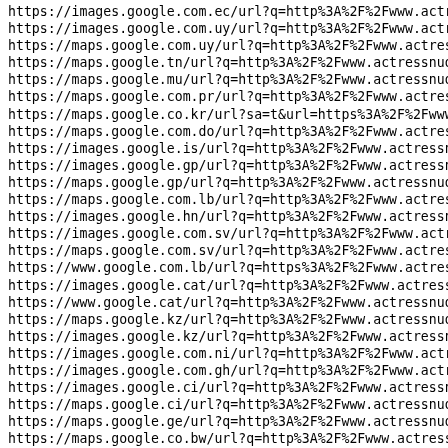https://images.google.com.ec/url?q=http%3A%2F%2Fwww.actress
https://images.google.com.uy/url?q=http%3A%2F%2Fwww.actress
https://maps.google.com.uy/url?q=http%3A%2F%2Fwww.actressnu
https://maps.google.tn/url?q=http%3A%2F%2Fwww.actressnudepi
https://maps.google.mu/url?q=http%3A%2F%2Fwww.actressnudepi
https://maps.google.com.pr/url?q=http%3A%2F%2Fwww.actressnu
https://maps.google.co.kr/url?sa=t&url=https%3A%2F%2Fwww.ac
https://maps.google.com.do/url?q=http%3A%2F%2Fwww.actressnu
https://images.google.is/url?q=http%3A%2F%2Fwww.actressnude
https://images.google.gp/url?q=http%3A%2F%2Fwww.actressnude
https://maps.google.gp/url?q=http%3A%2F%2Fwww.actressnudepi
https://maps.google.com.lb/url?q=http%3A%2F%2Fwww.actressnu
https://images.google.hn/url?q=http%3A%2F%2Fwww.actressnude
https://images.google.com.sv/url?q=http%3A%2F%2Fwww.actress
https://maps.google.com.sv/url?q=http%3A%2F%2Fwww.actressnu
https://www.google.com.lb/url?q=https%3A%2F%2Fwww.actressnu
https://images.google.cat/url?q=http%3A%2F%2Fwww.actressnud
https://www.google.cat/url?q=http%3A%2F%2Fwww.actressnudepi
https://maps.google.kz/url?q=http%3A%2F%2Fwww.actressnudepi
https://images.google.kz/url?q=http%3A%2F%2Fwww.actressnude
https://images.google.com.ni/url?q=http%3A%2F%2Fwww.actress
https://images.google.com.gh/url?q=http%3A%2F%2Fwww.actress
https://images.google.ci/url?q=http%3A%2F%2Fwww.actressnude
https://maps.google.ci/url?q=http%3A%2F%2Fwww.actressnudepi
https://maps.google.ge/url?q=http%3A%2F%2Fwww.actressnudepi
https://maps.google.co.bw/url?q=http%3A%2F%2Fwww.actressnud
https://images.google.ge/url?q=http%3A%2F%2Fwww.actressnude
https://maps.google.com.kw/url?q=http%3A%2F%2Fwww.actressnu
https://www.google.co.ug/url?q=http%3A%2F%2Fwww.actressnude
http://images.google.ae/url?q=https%3A%2F%2F...actressnude